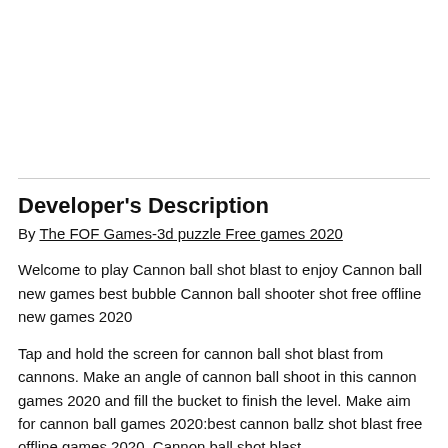Developer's Description
By The FOF Games-3d puzzle Free games 2020
Welcome to play Cannon ball shot blast to enjoy Cannon ball new games best bubble Cannon ball shooter shot free offline new games 2020
Tap and hold the screen for cannon ball shot blast from cannons. Make an angle of cannon ball shoot in this cannon games 2020 and fill the bucket to finish the level. Make aim for cannon ball games 2020:best cannon ballz shot blast free offline games 2020. Cannon ball shot blast